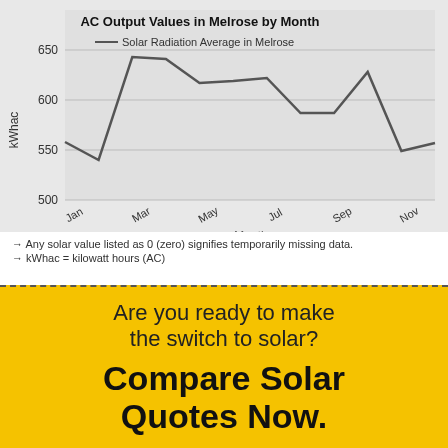[Figure (line-chart): AC Output Values in Melrose by Month]
→ Any solar value listed as 0 (zero) signifies temporarily missing data.
→ kWhac = kilowatt hours (AC)
Are you ready to make the switch to solar?
Compare Solar Quotes Now.